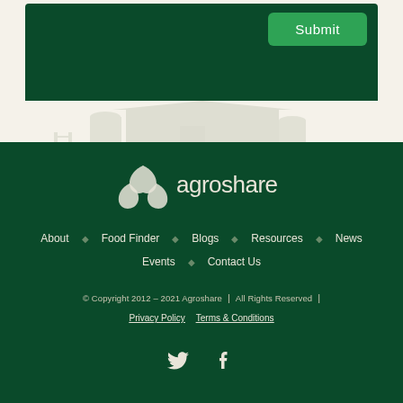[Figure (screenshot): Dark green form section with a Submit button in lighter green on the right side]
[Figure (illustration): Faint barn/farm illustration on cream/beige background]
[Figure (logo): Agroshare logo: three-leaf icon and wordmark 'agroshare' in white on dark green background]
About
Food Finder
Blogs
Resources
News
Events
Contact Us
© Copyright 2012 – 2021 Agroshare | All Rights Reserved |
Privacy Policy   Terms & Conditions